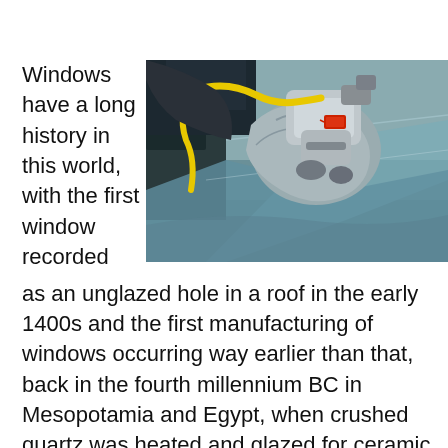Windows have a long history in this world, with the first window recorded as an unglazed hole in a roof in the early 1400s and the first manufacturing of windows occurring way earlier than that, back in the fourth millennium BC in Mesopotamia and Egypt, when crushed quartz was heated and glazed for ceramic vessels. The actual word comes from the Norse
[Figure (photo): A gloved hand holding a pneumatic tool working on a car windshield/glass, with a yellow hose attached to the tool. The tool has a red tag on it. The background shows the car hood area in grey tones.]